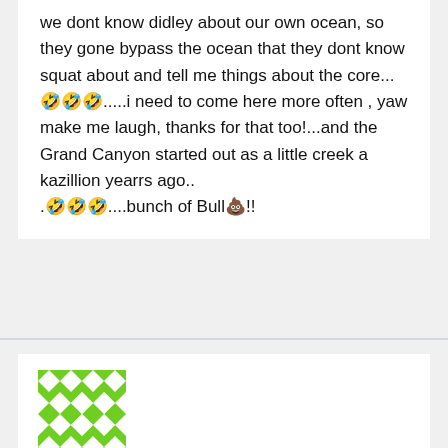we dont know didley about our own ocean, so they gone bypass the ocean that they dont know squat about and tell me things about the core...🤣🤣🤣.....i need to come here more often , yaw make me laugh, thanks for that too!...and the Grand Canyon started out as a little creek a kazillion yearrs ago.. .🤣🤣🤣....bunch of Bull💩!!
[Figure (other): Green pixel/geometric avatar image for Michelle Matheus]
Michelle Matheus | January 17, 2022 at 11:53 am | Reply